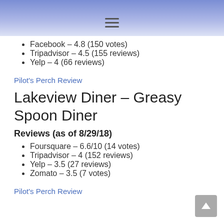≡
Facebook – 4.8 (150 votes)
Tripadvisor – 4.5 (155 reviews)
Yelp – 4 (66 reviews)
Pilot's Perch Review
Lakeview Diner – Greasy Spoon Diner
Reviews (as of 8/29/18)
Foursquare – 6.6/10 (14 votes)
Tripadvisor – 4 (152 reviews)
Yelp – 3.5 (27 reviews)
Zomato – 3.5 (7 votes)
Pilot's Perch Review